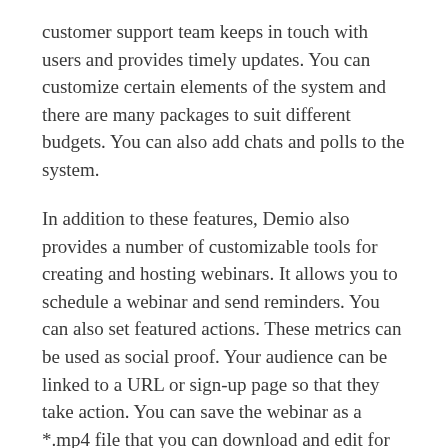customer support team keeps in touch with users and provides timely updates. You can customize certain elements of the system and there are many packages to suit different budgets. You can also add chats and polls to the system.
In addition to these features, Demio also provides a number of customizable tools for creating and hosting webinars. It allows you to schedule a webinar and send reminders. You can also set featured actions. These metrics can be used as social proof. Your audience can be linked to a URL or sign-up page so that they take action. You can save the webinar as a *.mp4 file that you can download and edit for future webinars.